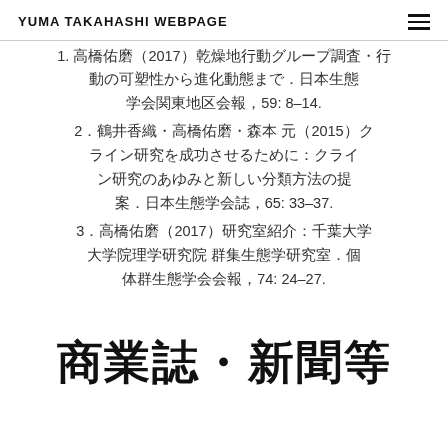YUMA TAKAHASHI WEBPAGE
1. 高橋佑磨（2017）乾燥地行動グループ調査・行動の可塑性から進化動態まで．日本生態学会関東地区会報，59: 8–14.
2. 鶴井香織・高橋佑磨・森本 元（2015）クライン研究を成功させるために：クライン研究のあゆみと新しい分類方法の提案．日本生態学会誌，65: 33–37.
3. 高橋佑磨（2017）研究室紹介：千葉大学大学院理学研究院 群集生態学研究室．個体群生態学会会報，74: 24–27.
商業誌・新聞等